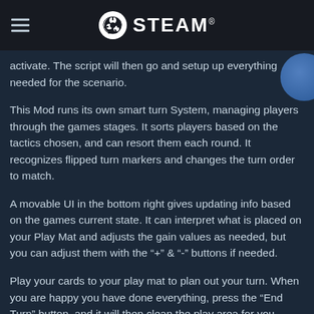STEAM
activate. The script will then go and setup up everything needed for the scenario.
This Mod runs its own smart turn System, managing players through the games stages. It sorts players based on the tactics chosen, and can resort them each round. It recognizes flipped turn markers and changes the turn order to match.
A movable UI in the bottom right gives updating info based on the games current state. It can interpret what is placed on your Play Mat and adjusts the gain values as needed, but you can adjust them with the "+" & "-" buttons if needed.
Play your cards to your play mat to plan out your turn. When you are happy you have done everything, press the “End Turn” button, and it will then clean the play area for you, adjusting the Fame and Reputation Tokens accordingly.
The UI then lists all the end turn things you should consider in the